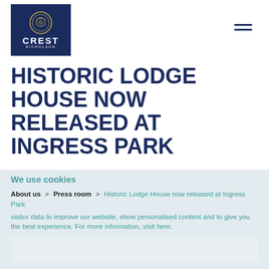[Figure (logo): Crest Nicholson logo: dark navy blue rectangle with gold circular emblem above the text CREST in large white bold letters and NICHOLSON in small white spaced letters below]
HISTORIC LODGE HOUSE NOW RELEASED AT INGRESS PARK
We use cookies
About us > Press room > Historic Lodge House now released at Ingress Park
visitor data to improve our website, show personalised content and to give you the best experience. For more information, visit here.